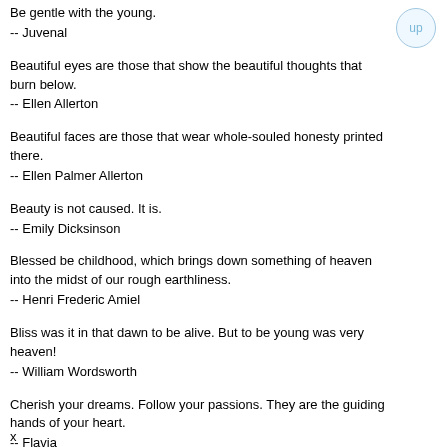Be gentle with the young.
-- Juvenal
Beautiful eyes are those that show the beautiful thoughts that burn below.
-- Ellen Allerton
Beautiful faces are those that wear whole-souled honesty printed there.
-- Ellen Palmer Allerton
Beauty is not caused. It is.
-- Emily Dicksinson
Blessed be childhood, which brings down something of heaven into the midst of our rough earthliness.
-- Henri Frederic Amiel
Bliss was it in that dawn to be alive. But to be young was very heaven!
-- William Wordsworth
Cherish your dreams. Follow your passions. They are the guiding hands of your heart.
-- Flavia
Childhood, catching our imagination when it is fresh and tender,
x